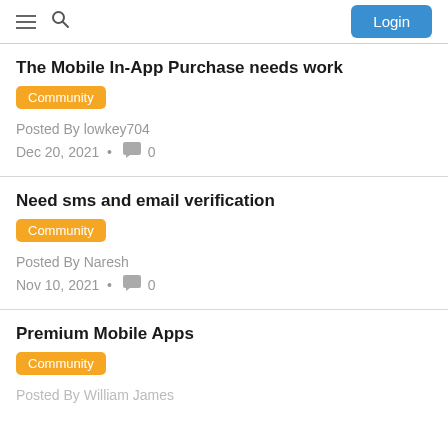Login
The Mobile In-App Purchase needs work
Community
Posted By lowkey704
Dec 20, 2021  •  0
Need sms and email verification
Community
Posted By Naresh
Nov 10, 2021  •  0
Premium Mobile Apps
Community
Posted By William James